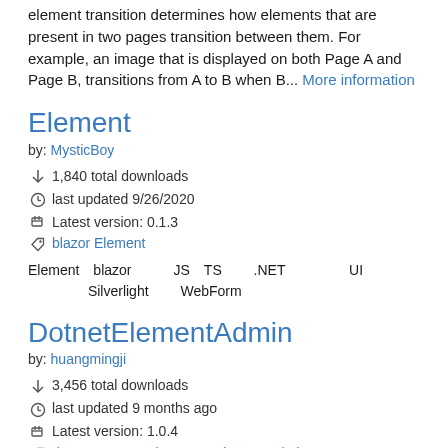element transition determines how elements that are present in two pages transition between them. For example, an image that is displayed on both Page A and Page B, transitions from A to B when B... More information
Element
by: MysticBoy
1,840 total downloads
last updated 9/26/2020
Latest version: 0.1.3
blazor Element
Element　blazor　　　JS　TS　　 .NET 　　　　 UI 　　　　 Silverlight　　 WebForm
DotnetElementAdmin
by: huangmingji
3,456 total downloads
last updated 9 months ago
Latest version: 1.0.4
dotnet new templates vue element admin